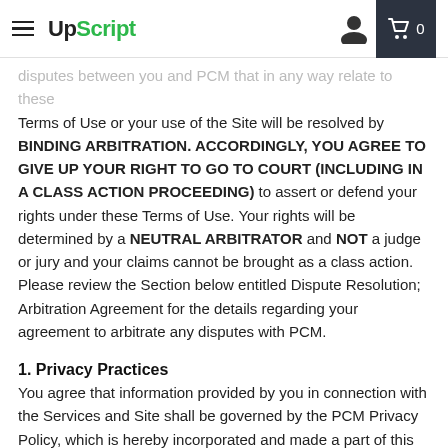UpScript
disputes between you and PCM that in any way relate to these Terms of Use or your use of the Site will be resolved by BINDING ARBITRATION. ACCORDINGLY, YOU AGREE TO GIVE UP YOUR RIGHT TO GO TO COURT (INCLUDING IN A CLASS ACTION PROCEEDING) to assert or defend your rights under these Terms of Use. Your rights will be determined by a NEUTRAL ARBITRATOR and NOT a judge or jury and your claims cannot be brought as a class action. Please review the Section below entitled Dispute Resolution; Arbitration Agreement for the details regarding your agreement to arbitrate any disputes with PCM.
1. Privacy Practices
You agree that information provided by you in connection with the Services and Site shall be governed by the PCM Privacy Policy, which is hereby incorporated and made a part of this Agreement. Doctor Matrix Medical Group (or your own medical provider if you do not use a Doctor Matrix Medical Group Provider) is responsible for providing you with a Notice of